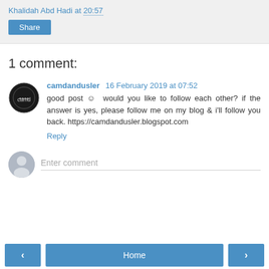Khalidah Abd Hadi at 20:57
Share
1 comment:
[Figure (photo): Avatar of commenter camdandusler - black circular logo]
camdandusler 16 February 2019 at 07:52
good post 😊 would you like to follow each other? if the answer is yes, please follow me on my blog & i'll follow you back. https://camdandusler.blogspot.com
Reply
[Figure (illustration): Generic grey user avatar icon]
Enter comment
< Home >